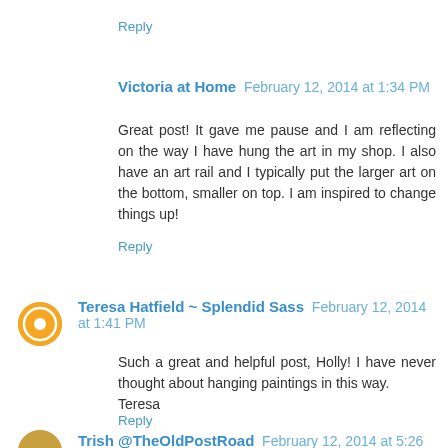Reply
Victoria at Home  February 12, 2014 at 1:34 PM
Great post! It gave me pause and I am reflecting on the way I have hung the art in my shop. I also have an art rail and I typically put the larger art on the bottom, smaller on top. I am inspired to change things up!
Reply
Teresa Hatfield ~ Splendid Sass  February 12, 2014 at 1:41 PM
Such a great and helpful post, Holly! I have never thought about hanging paintings in this way.
Teresa
Reply
Trish @TheOldPostRoad  February 12, 2014 at 5:26 PM